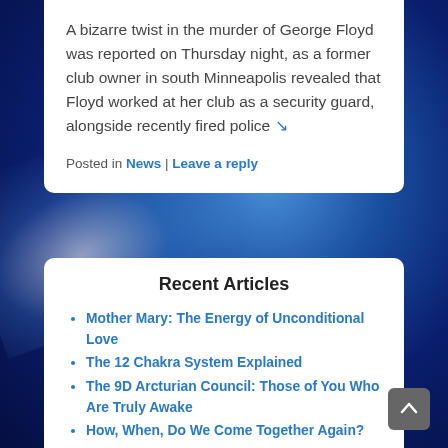A bizarre twist in the murder of George Floyd was reported on Thursday night, as a former club owner in south Minneapolis revealed that Floyd worked at her club as a security guard, alongside recently fired police ↘
Posted in News | Leave a reply
Recent Articles
Mother Mary: The Energy of Unconditional Love
The 12 Chakra System Explained
The 9D Arcturian Council: Those of You Who Are Truly Awake
How, When, Do We Come Together Again?
The History of Earth Part 4, 5, 6